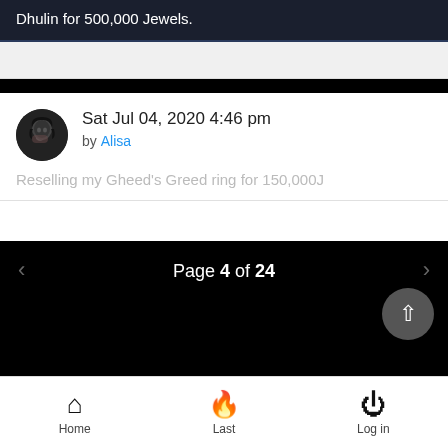Dhulin for 500,000 Jewels.
Sat Jul 04, 2020 4:46 pm
by Alisa
Reselling my Gheed's Greed ring for 150,000J
Page 4 of 24
Home  Last  Log in